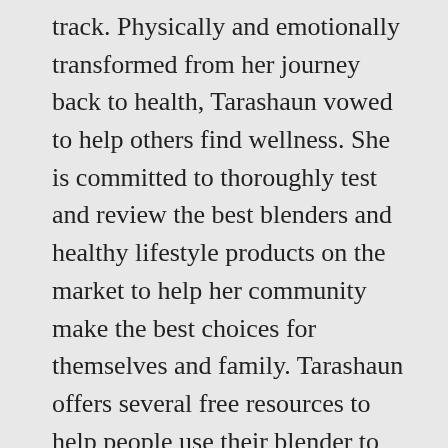track. Physically and emotionally transformed from her journey back to health, Tarashaun vowed to help others find wellness. She is committed to thoroughly test and review the best blenders and healthy lifestyle products on the market to help her community make the best choices for themselves and family. Tarashaun offers several free resources to help people use their blender to get healthy including a 7 Day Superfood Smoothie Challenge. Blender Babes has also negotiated special deals and offers for